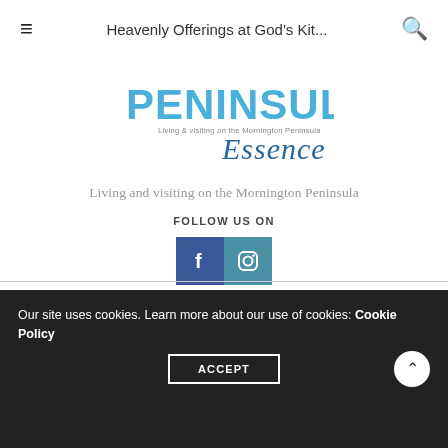Heavenly Offerings at God's Kit...
[Figure (logo): Peninsula Essence magazine logo — PENINSULA in large blue block letters, with 'Essence' in blue cursive script overlapping, and subtitle 'Living & visiting on the Mornington Peninsula' in small text]
Living and visiting on the Mornington Peninsula
FOLLOW US ON
[Figure (other): Facebook and Instagram social media icon buttons — blue square with white f icon and teal square with white Instagram camera outline icon]
Our site uses cookies. Learn more about our use of cookies: Cookie Policy
ACCEPT